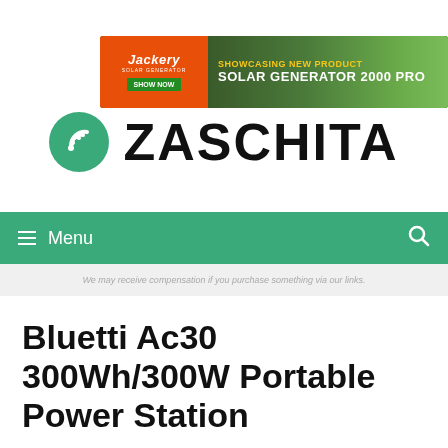[Figure (photo): Jackery Solar Generator advertisement banner showing solar panels in a green field with text 'SHOWCASING NEW PRODUCT SOLAR GENERATOR 2000 PRO' and 'SHOW NOW' button]
[Figure (logo): ZASCHITA logo with green circle icon containing a stylized signal/wifi symbol on the left and bold black text 'ZASCHITA' on the right]
≡ Menu
We may receive compensation if you purchase something via our links.
Bluetti Ac30 300Wh/300W Portable Power Station